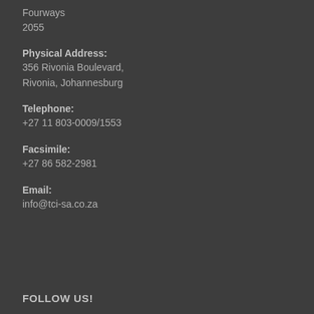Fourways
2055
Physical Address:
356 Rivonia Boulevard,
Rivonia, Johannesburg
Telephone:
+27 11 803-0009/1553
Facsimile:
+27 86 582-2981
Email:
info@tci-sa.co.za
FOLLOW US!